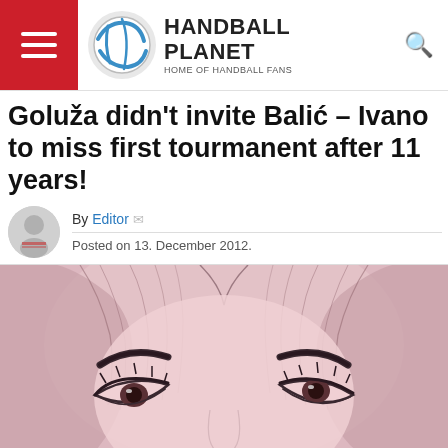HANDBALL PLANET - HOME OF HANDBALL FANS
Goluža didn't invite Balić – Ivano to miss first tourmanent after 11 years!
By Editor  Posted on 13. December 2012.
[Figure (illustration): Pencil sketch/illustration of a woman's face with prominent eyebrows, hair parted in the middle, on a pink background]